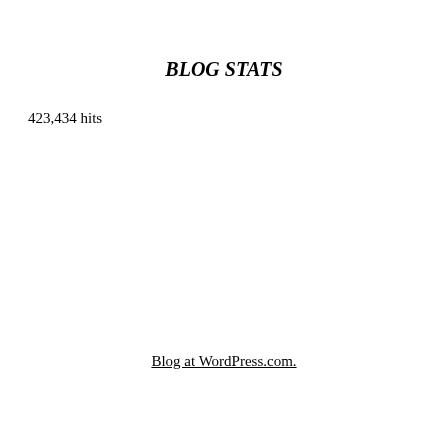BLOG STATS
423,434 hits
Blog at WordPress.com.